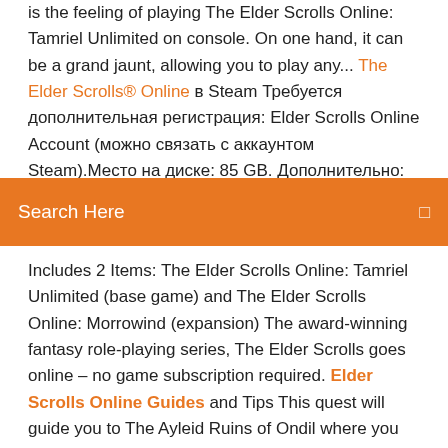is the feeling of playing The Elder Scrolls Online: Tamriel Unlimited on console. On one hand, it can be a grand jaunt, allowing you to play any... The Elder Scrolls® Online в Steam Требуется дополнительная регистрация: Elder Scrolls Online Account (можно связать с аккаунтом Steam).Место на диске: 85 GB. Дополнительно: OpenGL: 4.1. ©2015 ZeniMax Media... The Elder Scrolls Online: Tamriel Unlimited...
Search Here
Includes 2 Items: The Elder Scrolls Online: Tamriel Unlimited (base game) and The Elder Scrolls Online: Morrowind (expansion) The award-winning fantasy role-playing series, The Elder Scrolls goes online – no game subscription required. Elder Scrolls Online Guides and Tips This quest will guide you to The Ayleid Ruins of Ondil where you will have great adventures and will receive great rewards. Emperor's Guide to Tamriel – Elder Scrolls Online Art Book… Lavishly bound and produced, this series of books is the definitive guide to lore from theElder